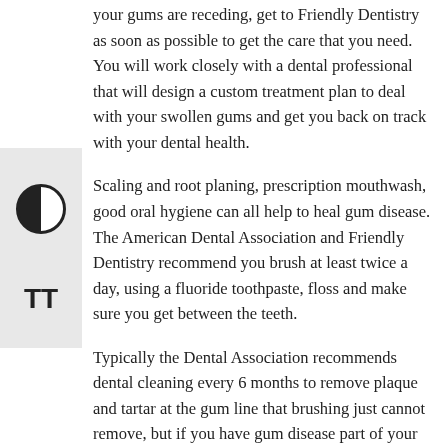your gums are receding, get to Friendly Dentistry as soon as possible to get the care that you need. You will work closely with a dental professional that will design a custom treatment plan to deal with your swollen gums and get you back on track with your dental health.
Scaling and root planing, prescription mouthwash, good oral hygiene can all help to heal gum disease. The American Dental Association and Friendly Dentistry recommend you brush at least twice a day, using a fluoride toothpaste, floss and make sure you get between the teeth.
Typically the Dental Association recommends dental cleaning every 6 months to remove plaque and tartar at the gum line that brushing just cannot remove, but if you have gum disease part of your periodontology treatment plan may include more frequent cleaning to remove plaque. Tartar and plaque must be kept in check while you are going through treatments.
In severe cases the treatment will be more aggressive. Get the care that you deserve to avoid all the potential dangers of gum disease. Make your appointment today with Friendly Dentistry in Greensboro NC.